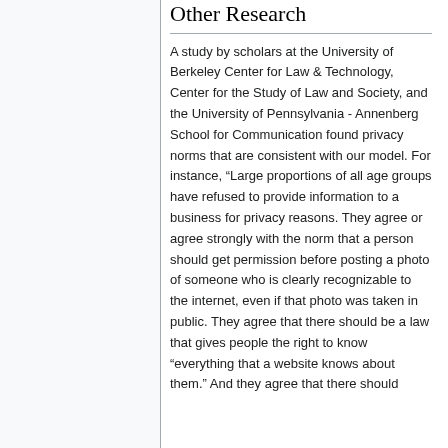Other Research
A study by scholars at the University of Berkeley Center for Law & Technology, Center for the Study of Law and Society, and the University of Pennsylvania - Annenberg School for Communication found privacy norms that are consistent with our model. For instance, “Large proportions of all age groups have refused to provide information to a business for privacy reasons. They agree or agree strongly with the norm that a person should get permission before posting a photo of someone who is clearly recognizable to the internet, even if that photo was taken in public. They agree that there should be a law that gives people the right to know “everything that a website knows about them.” And they agree that there should